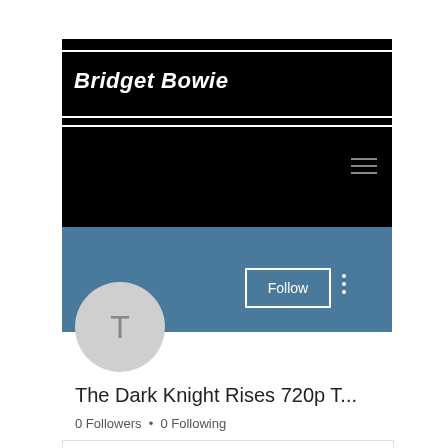Bridget Bowie
[Figure (screenshot): Mobile app profile page screenshot showing black header banner with 'Bridget Bowie' in italic bold white text, horizontal white lines above and below the title, hamburger menu icon, a steel blue/teal profile banner, a circular avatar with letter T, a Follow button with white border, three-dot menu icon, profile title 'The Dark Knight Rises 720p T...', follower stats '0 Followers • 0 Following', and the top of a white content card.]